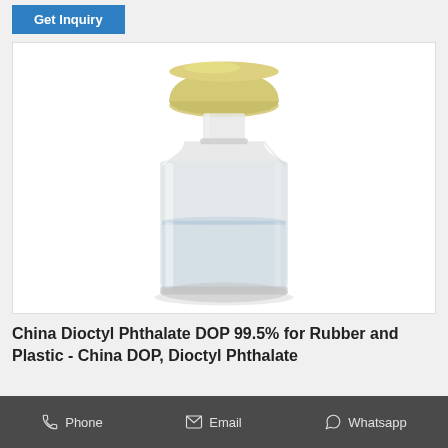Get Inquiry
[Figure (photo): A clear glass reagent bottle with a yellow-tinted stopper/cap, containing a clear colorless liquid, photographed on a white background.]
China Dioctyl Phthalate DOP 99.5% for Rubber and Plastic - China DOP, Dioctyl Phthalate
Phone   Email   Whatsapp